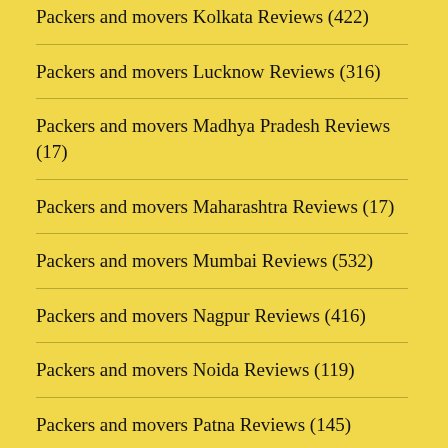Packers and movers Kolkata Reviews (422)
Packers and movers Lucknow Reviews (316)
Packers and movers Madhya Pradesh Reviews (17)
Packers and movers Maharashtra Reviews (17)
Packers and movers Mumbai Reviews (532)
Packers and movers Nagpur Reviews (416)
Packers and movers Noida Reviews (119)
Packers and movers Patna Reviews (145)
Packers and movers Pune Reviews (341)
Packers and movers Punjab Reviews (21)